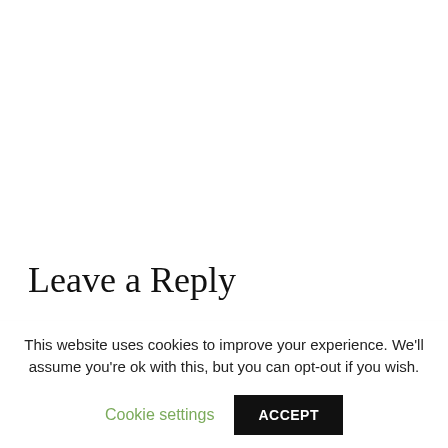Leave a Reply
This website uses cookies to improve your experience. We'll assume you're ok with this, but you can opt-out if you wish.
Cookie settings  ACCEPT